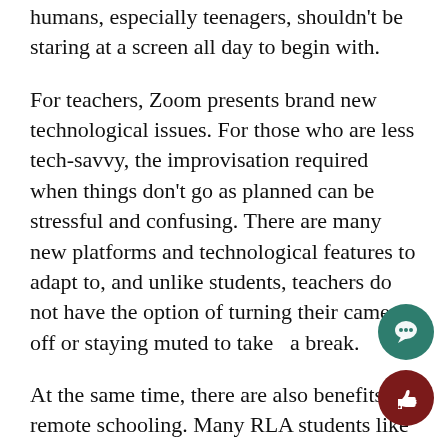humans, especially teenagers, shouldn't be staring at a screen all day to begin with.
For teachers, Zoom presents brand new technological issues. For those who are less tech-savvy, the improvisation required when things don't go as planned can be stressful and confusing. There are many new platforms and technological features to adapt to, and unlike students, teachers do not have the option of turning their cameras off or staying muted to take  a break.
At the same time, there are also benefits to remote schooling. Many RLA students like the flexible learning style. Personally, I find the longer lunch breaks helpful—it's a great time to relax and pursue personal hobbies like running or having lunch with family. While hybrid allows for more time socializing, many hybrid students comment that the majority of